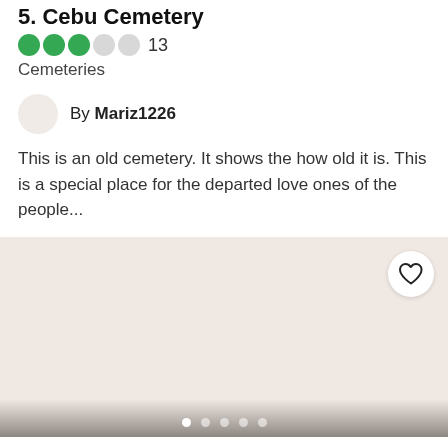5. Cebu Cemetery
●●●○○ 13
Cemeteries
By Mariz1226
This is an old cemetery. It shows the how old it is. This is a special place for the departed love ones of the people...
[Figure (photo): Beige/pink tinted image placeholder with a heart/favorite button in the top right corner and dot page indicators at the bottom]
6. AJ's Place Day Tours